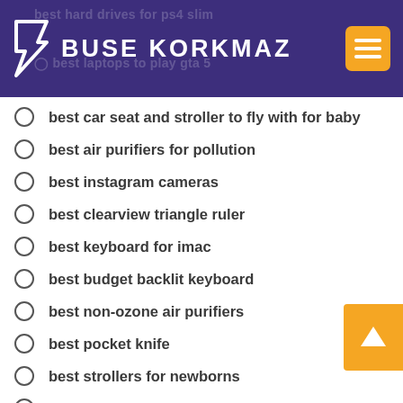BUSE KORKMAZ
best car seat and stroller to fly with for baby
best air purifiers for pollution
best instagram cameras
best clearview triangle ruler
best keyboard for imac
best budget backlit keyboard
best non-ozone air purifiers
best pocket knife
best strollers for newborns
best valve guitar amplifier